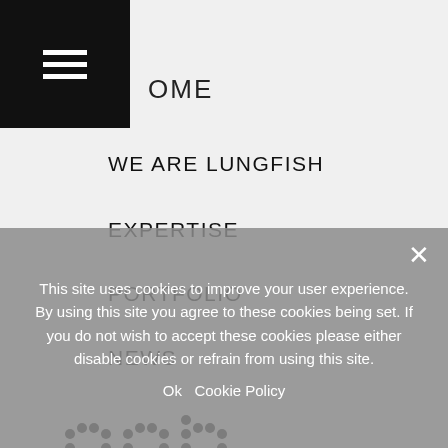[Figure (screenshot): Navigation menu bar with hamburger icon on black background and HOME text]
WE ARE LUNGFISH
EXPERTISE
PORTFOLIO
NEWS
CONTACT
[Figure (logo): ARB - Architects Registration Board dot-matrix logo]
[Figure (logo): RIBA Chartered Practice logo]
[Figure (logo): CIAT Registered Practice logo]
This site uses cookies to improve your user experience. By using this site you agree to these cookies being set. If you do not wish to accept these cookies please either disable cookies or refrain from using this site.
Ok   Cookie Policy